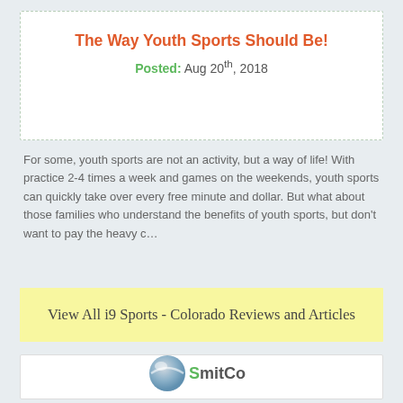The Way Youth Sports Should Be!
Posted: Aug 20th, 2018
For some, youth sports are not an activity, but a way of life! With practice 2-4 times a week and games on the weekends, youth sports can quickly take over every free minute and dollar. But what about those families who understand the benefits of youth sports, but don't want to pay the heavy c…
View All i9 Sports - Colorado Reviews and Articles
[Figure (logo): SmitCo logo — a grey and blue sphere/ball with 'SmitCo' text]